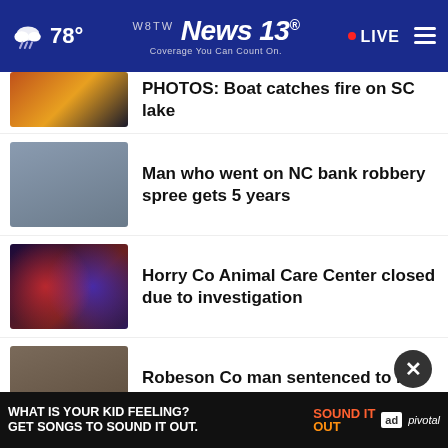WBTW News 13 · Coverage You Can Count On · 78° · LIVE
PHOTOS: Boat catches fire on SC lake
Man who went on NC bank robbery spree gets 5 years
Horry Co Animal Care Center closed due to investigation
Robeson Co man sentenced to life at 20 gets parole
More indictments against Alex Murdaugh
SC legislature and freshman class
WHAT IS YOUR KID FEELING? GET SONGS TO SOUND IT OUT. · SOUND IT OUT · ad council · pivotal